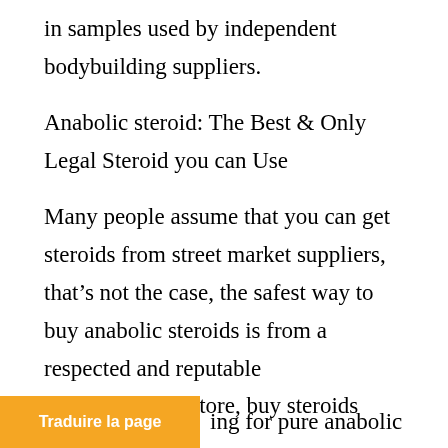in samples used by independent bodybuilding suppliers.
Anabolic steroid: The Best & Only Legal Steroid you can Use
Many people assume that you can get steroids from street market suppliers, that’s not the case, the safest way to buy anabolic steroids is from a respected and reputable pharmaceutical store, buy steroids glasgow.
Traduire la page
ing for pure anabolic